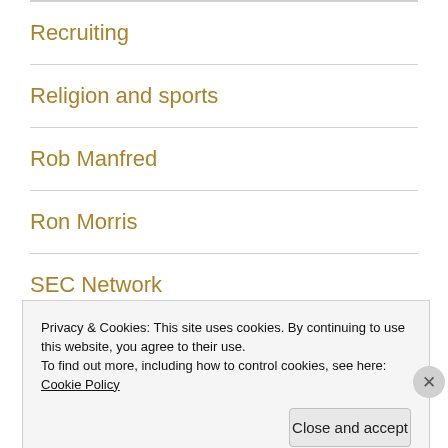Recruiting
Religion and sports
Rob Manfred
Ron Morris
SEC Network
Privacy & Cookies: This site uses cookies. By continuing to use this website, you agree to their use.
To find out more, including how to control cookies, see here: Cookie Policy
Close and accept